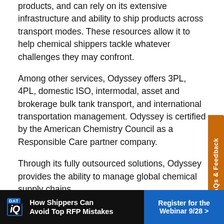products, and can rely on its extensive infrastructure and ability to ship products across transport modes. These resources allow it to help chemical shippers tackle whatever challenges they may confront.
Among other services, Odyssey offers 3PL, 4PL, domestic ISO, intermodal, asset and brokerage bulk tank transport, and international transportation management. Odyssey is certified by the American Chemistry Council as a Responsible Care partner company.
Through its fully outsourced solutions, Odyssey provides the ability to manage global chemical supply chains.
“We essentially take over the logistics function for a
[Figure (other): DAT IQ advertisement banner: 'How Shippers Can Avoid Top RFP Mistakes' with a blue 'Register for the Webinar 9/28 >' button on the right.]